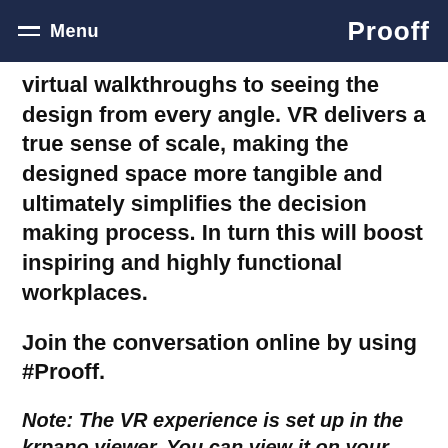Menu  Prooff
virtual walkthroughs to seeing the design from every angle. VR delivers a true sense of scale, making the designed space more tangible and ultimately simplifies the decision making process. In turn this will boost inspiring and highly functional workplaces.
Join the conversation online by using #Prooff.
Note: The VR experience is set up in the krpano viewer. You can view it on your phone, tablet and through a VR goggle. Are you viewing it with the Samsung Gear VR? Don't insert the USB connector, as demonstrated in this video.